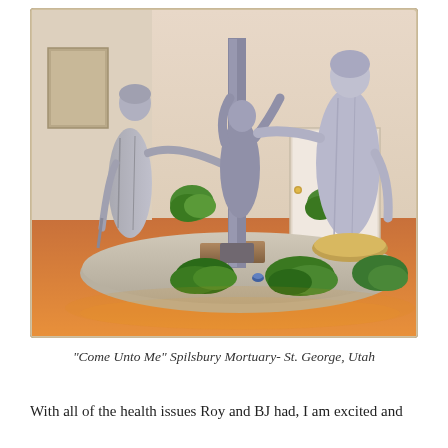[Figure (photo): Indoor photograph of a religious sculpture group titled 'Come Unto Me' displayed at Spilsbury Mortuary in St. George, Utah. The scene shows multiple life-size bronze/grey statues on a platform with plants, depicting a Christ figure with outstretched arms and other figures including an elderly woman with a cane.]
“Come Unto Me” Spilsbury Mortuary- St. George, Utah
With all of the health issues Roy and BJ had, I am excited and